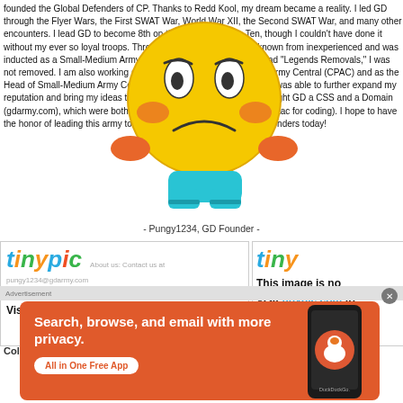founded the Global Defenders of CP. Thanks to Redd Kool, my dream became a reality. I led GD through the Flyer Wars, the First SWAT War, World War XII, the Second SWAT War, and many other encounters. I lead GD to become 8th on the Major Army Top Ten, though I couldn't have done it without my ever so loyal troops. Through leading GD, I became known from inexperienced and was inducted as a Small-Medium Army Legend, SMAC. When SMAC had "Legends Removals," I was not removed. I am also working as a Philosopher on Club Penguin Army Central (CPAC) and as the Head of Small-Medium Army Central (SMAC). Through journalism, I was able to further expand my reputation and bring my ideas to the Club Penguin Army World. I bought GD a CSS and a Domain (gdarmy.com), which were both worth every cent (special thanks to Etac for coding). I hope to have the honor of leading this army to its golden age. Join the Global Defenders today!
[Figure (illustration): Cartoon sad face emoji character in yellow with orange hands, overlaid on the text]
- Pungy1234, GD Founder -
About us: Contact us at pungy1234@gdarmy.com
[Figure (screenshot): TinyPic image placeholder - This image is no longer available. Visit tinypic.com for more information. (left side)]
[Figure (screenshot): TinyPic image placeholder - This image is no longer available. Visit tinypic.com for more information. (right side, partially cut off)]
Colonies
[Figure (screenshot): DuckDuckGo advertisement banner: Search, browse, and email with more privacy. All in One Free App. Shows phone with DuckDuckGo logo.]